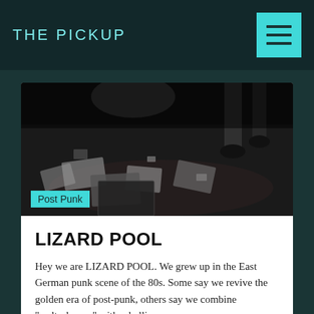THE PICKUP
[Figure (photo): Black and white photo of a room floor with scattered papers, books, and feet visible, dark atmospheric scene]
Post Punk
LIZARD POOL
Hey we are LIZARD POOL. We grew up in the East German punk scene of the 80s. Some say we revive the golden era of post-punk, others say we combine "weltschmerz" with rebellion.
FOR FANS OF
Editors
interpol
She Wants Revenge